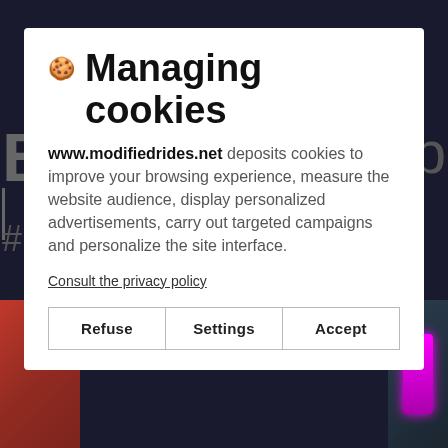[Figure (screenshot): Dark background of a website with blurred navigation text and photo of cars/neon lights partially visible behind modal]
Managing cookies
www.modifiedrides.net deposits cookies to improve your browsing experience, measure the website audience, display personalized advertisements, carry out targeted campaigns and personalize the site interface.
Consult the privacy policy
Refuse | Settings | Accept